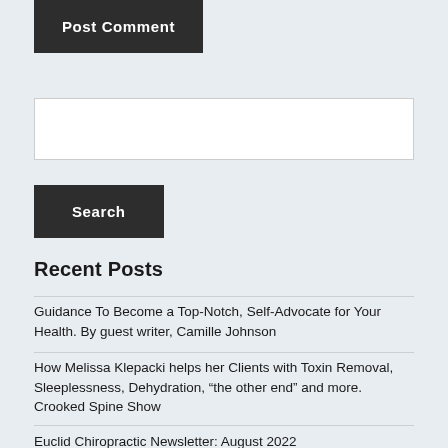Post Comment
Search
Recent Posts
Guidance To Become a Top-Notch, Self-Advocate for Your Health. By guest writer, Camille Johnson
How Melissa Klepacki helps her Clients with Toxin Removal, Sleeplessness, Dehydration, “the other end” and more. Crooked Spine Show
Euclid Chiropractic Newsletter: August 2022